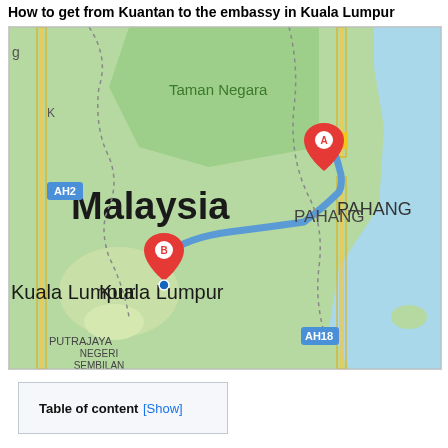How to get from Kuantan to the embassy in Kuala Lumpur
[Figure (map): Google Maps showing route from Kuantan (marker A, in Pahang) to Kuala Lumpur embassy (marker B), passing through central Malaysia. Map labels include Taman Negara, Malaysia, PAHANG, Kuala Lumpur, PUTRAJAYA, NEGERI SEMBILAN, road labels AH2, E8, AH18, and a blue river route connecting the two markers.]
Table of content [Show]